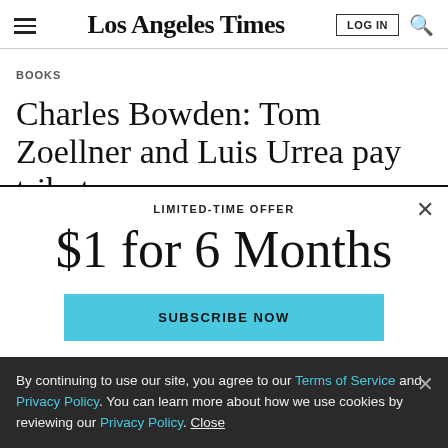Los Angeles Times
BOOKS
Charles Bowden: Tom Zoellner and Luis Urrea pay tribute
LIMITED-TIME OFFER
$1 for 6 Months
SUBSCRIBE NOW
By continuing to use our site, you agree to our Terms of Service and Privacy Policy. You can learn more about how we use cookies by reviewing our Privacy Policy. Close